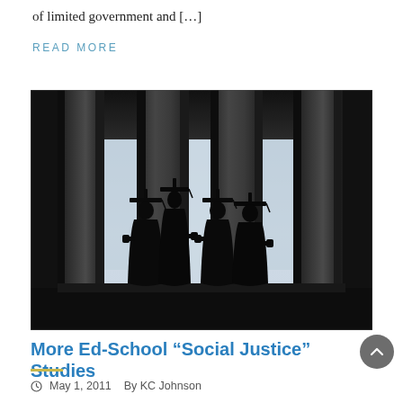of limited government and […]
READ MORE
[Figure (photo): Silhouette of four graduates in caps and gowns standing between large classical columns against a light sky background]
More Ed-School “Social Justice” Studies
May 1, 2011   By KC Johnson